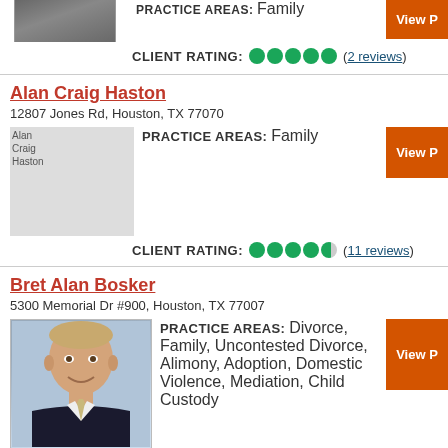PRACTICE AREAS: Family
CLIENT RATING: ●●●●● (2 reviews)
Alan Craig Haston
12807 Jones Rd, Houston, TX 77070
[Figure (photo): Placeholder image for Alan Craig Haston attorney profile]
PRACTICE AREAS: Family
CLIENT RATING: ●●●●◑ (11 reviews)
Bret Alan Bosker
5300 Memorial Dr #900, Houston, TX 77007
[Figure (photo): Photo of Bret Alan Bosker, attorney, man in dark suit with light tie]
PRACTICE AREAS: Divorce, Family, Uncontested Divorce, Alimony, Adoption, Domestic Violence, Mediation, Child Custody